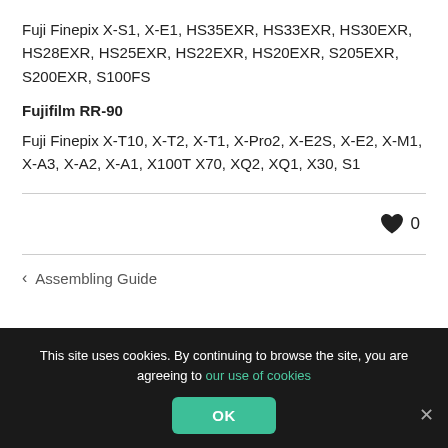Fuji Finepix X-S1, X-E1, HS35EXR, HS33EXR, HS30EXR, HS28EXR, HS25EXR, HS22EXR, HS20EXR, S205EXR, S200EXR, S100FS
Fujifilm RR-90
Fuji Finepix X-T10, X-T2, X-T1, X-Pro2, X-E2S, X-E2, X-M1, X-A3, X-A2, X-A1, X100T X70, XQ2, XQ1, X30, S1
♥ 0
‹ Assembling Guide
This site uses cookies. By continuing to browse the site, you are agreeing to our use of cookies